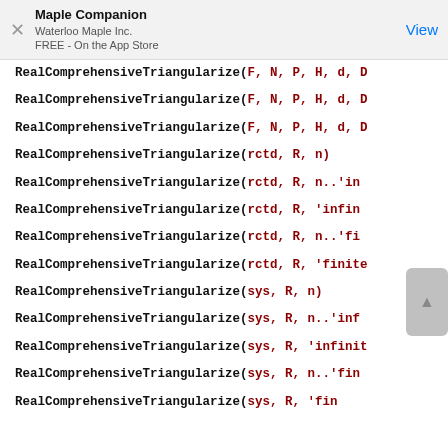Maple Companion
Waterloo Maple Inc.
FREE - On the App Store
RealComprehensiveTriangularize(F, N, P, H, d, ...
RealComprehensiveTriangularize(F, N, P, H, d, ...
RealComprehensiveTriangularize(F, N, P, H, d, ...
RealComprehensiveTriangularize(rctd, R, n)
RealComprehensiveTriangularize(rctd, R, n..'int...
RealComprehensiveTriangularize(rctd, R, 'infin...
RealComprehensiveTriangularize(rctd, R, n..'fi...
RealComprehensiveTriangularize(rctd, R, 'finite...
RealComprehensiveTriangularize(sys, R, n)
RealComprehensiveTriangularize(sys, R, n..'inf...
RealComprehensiveTriangularize(sys, R, 'infinit...
RealComprehensiveTriangularize(sys, R, n..'fin...
RealComprehensiveTriangularize(sys, R, ...